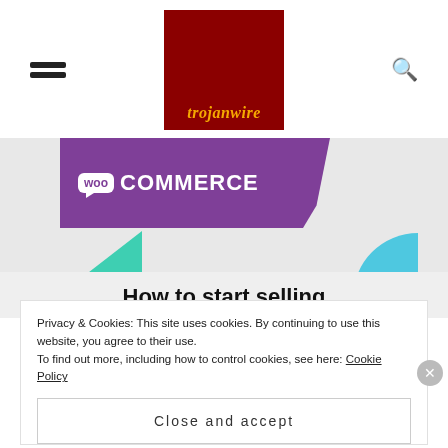[Figure (logo): Trojanwire logo: dark red square with gold italic 'trojanwire' text at the bottom. Hamburger menu icon on the left, search magnifying glass icon on the right.]
[Figure (screenshot): WooCommerce branded image with purple banner showing 'woo COMMERCE' logo, teal triangle shape bottom-left, light blue quarter-circle bottom-right, gray background. Text 'How to start selling' appears at the bottom of the image area.]
Privacy & Cookies: This site uses cookies. By continuing to use this website, you agree to their use.
To find out more, including how to control cookies, see here: Cookie Policy
Close and accept